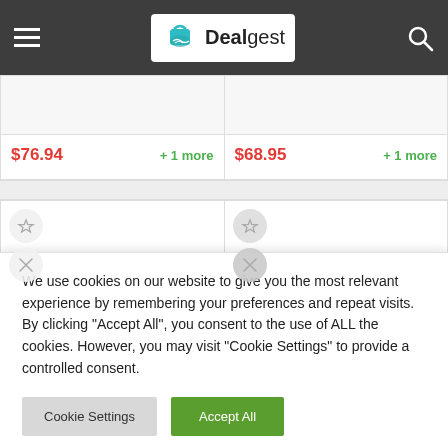Dealgest
$76.94   + 1 more
$68.95   + 1 more
[Figure (photo): Two soundbar speaker product cards showing product images]
We use cookies on our website to give you the most relevant experience by remembering your preferences and repeat visits. By clicking "Accept All", you consent to the use of ALL the cookies. However, you may visit "Cookie Settings" to provide a controlled consent.